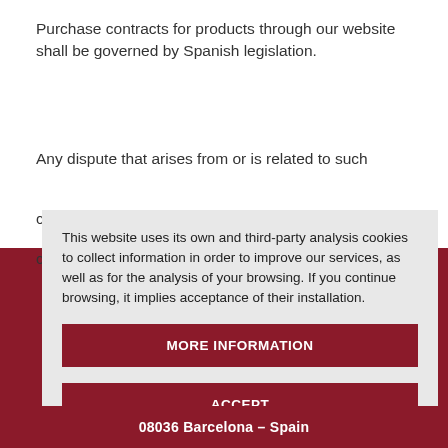Purchase contracts for products through our website shall be governed by Spanish legislation.
Any dispute that arises from or is related to such
This website uses its own and third-party analysis cookies to collect information in order to improve our services, as well as for the analysis of your browsing. If you continue browsing, it implies acceptance of their installation.
MORE INFORMATION
ACCEPT
08036 Barcelona – Spain